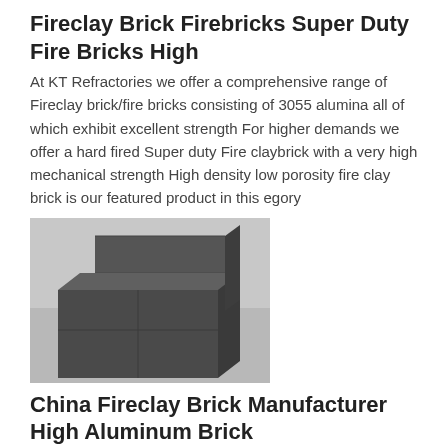Fireclay Brick Firebricks Super Duty Fire Bricks High
At KT Refractories we offer a comprehensive range of Fireclay brick/fire bricks consisting of 3055 alumina all of which exhibit excellent strength For higher demands we offer a hard fired Super duty Fire claybrick with a very high mechanical strength High density low porosity fire clay brick is our featured product in this egory
[Figure (photo): Photo of dark grey fireclay fire bricks stacked on a light grey surface, showing multiple rectangular brick blocks of varying sizes]
China Fireclay Brick Manufacturer High Aluminum Brick
20101221 The company mainly manufactures fireclay brick High Aluminum Bricks and the high quality...